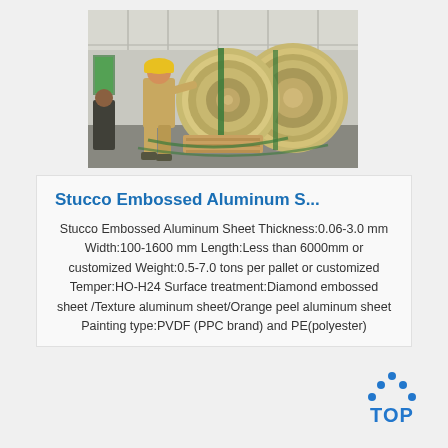[Figure (photo): Worker in yellow hard hat and work clothes standing next to large aluminum coil rolls in an industrial warehouse/factory. Wooden pallets visible on the floor.]
Stucco Embossed Aluminum S...
Stucco Embossed Aluminum Sheet Thickness:0.06-3.0 mm Width:100-1600 mm Length:Less than 6000mm or customized Weight:0.5-7.0 tons per pallet or customized Temper:HO-H24 Surface treatment:Diamond embossed sheet /Texture aluminum sheet/Orange peel aluminum sheet Painting type:PVDF (PPC brand) and PE(polyester)
[Figure (logo): TOP logo — blue dots arranged in a triangle/arc pattern above bold blue text reading TOP]